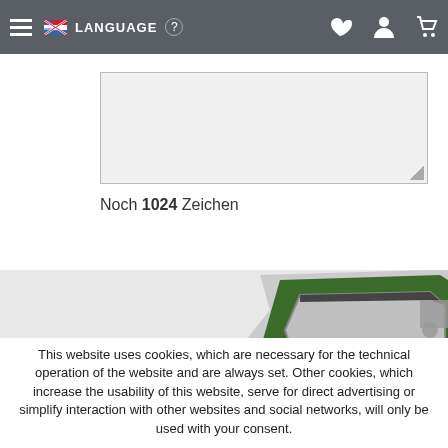LANGUAGE
[Figure (screenshot): Textarea input box with light grey background and resize handle at bottom-right]
Noch 1024 Zeichen
[Figure (photo): Partial view of a computer processor/CPU chip showing green circuit board corner]
This website uses cookies, which are necessary for the technical operation of the website and are always set. Other cookies, which increase the usability of this website, serve for direct advertising or simplify interaction with other websites and social networks, will only be used with your consent.
DECLINE | ACCEPT ALL | CONFIGURE